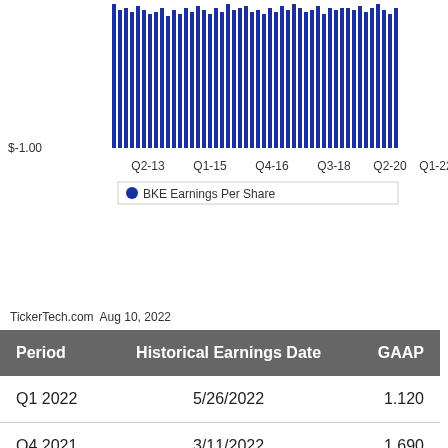[Figure (bar-chart): Bar chart showing BKE Earnings Per Share over time from Q2-13 to Q1-22. The y-axis shows $-1.00 at the bottom visible tick. Bars are dark blue.]
TickerTech.com  Aug 10, 2022
| Period | Historical Earnings Date | GAAP |
| --- | --- | --- |
| Q1 2022 | 5/26/2022 | 1.120 |
| Q4 2021 | 3/11/2022 | 1.690 |
| Q3 2021 | 11/19/2021 | 1.260 |
| Q2 2021 | 8/20/2021 | 1.040 |
| Q1 2021 | 5/21/2021 | 1.160 |